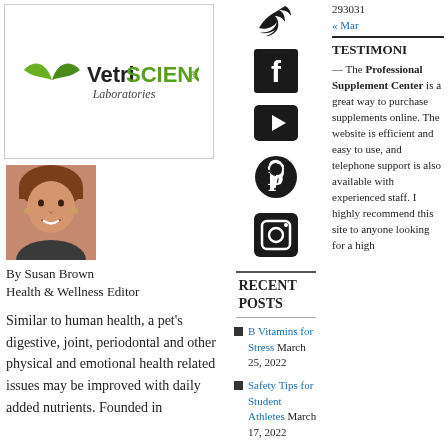[Figure (logo): VetriSCIENCE Laboratories logo with green leaf icon and black text]
[Figure (photo): Headshot photo of Susan Brown, a woman with brown bangs, smiling]
By Susan Brown
Health & Wellness Editor
Similar to human health, a pet’s digestive, joint, periodontal and other physical and emotional health related issues may be improved with daily added nutrients. Founded in
[Figure (illustration): Twitter bird icon (social media)]
[Figure (illustration): Facebook icon (social media)]
[Figure (illustration): YouTube play button icon (social media)]
[Figure (illustration): Pinterest icon (social media)]
[Figure (illustration): Instagram camera icon (social media)]
RECENT POSTS
B Vitamins for Stress March 25, 2022
Safety Tips for Student Athletes March 17, 2022
293031
« Mar
TESTIMONI
— The Professional Supplement Center is a great way to purchase supplements online. The website is efficient and easy to use, and telephone support is also available with experienced staff. I highly recommend this site to anyone looking for a high